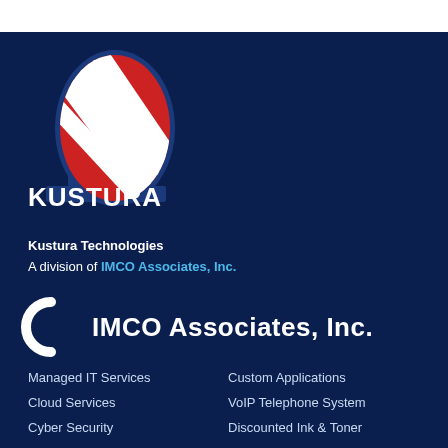[Figure (logo): Kustura Technologies logo: red and white checkered oval/speech bubble shape with dark blue base, above 'KUSTURA' in bold white letters and 'technologies' in spaced white letters below]
Kustura Technologies
A division of IMCO Associates, Inc.
[Figure (logo): IMCO Associates, Inc. logo: white circular C-shape icon followed by bold white text 'IMCO Associates, Inc.']
Managed IT Services
Custom Applications
Cloud Services
VoIP Telephone System
Cyber Security
Discounted Ink & Toner